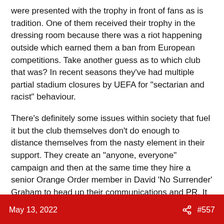were presented with the trophy in front of fans as is tradition. One of them received their trophy in the dressing room because there was a riot happening outside which earned them a ban from European competitions. Take another guess as to which club that was? In recent seasons they've had multiple partial stadium closures by UEFA for "sectarian and racist" behaviour.
There's definitely some issues within society that fuel it but the club themselves don't do enough to distance themselves from the nasty element in their support. They create an "anyone, everyone" campaign and then at the same time they hire a senior Orange Order member in David 'No Surrender' Graham to head up their communications and PR. It beggars belief.
May 13, 2022  #557